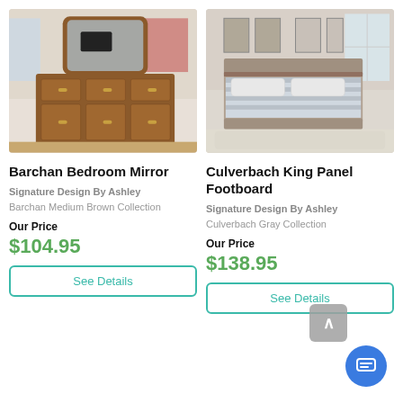[Figure (photo): Barchan bedroom dresser with mirror in a children's bedroom setting, medium brown wood finish with multiple drawers]
[Figure (photo): Culverbach king panel bed in a bedroom setting, gray wood finish with gray bedding]
Barchan Bedroom Mirror
Culverbach King Panel Footboard
Signature Design By Ashley
Signature Design By Ashley
Barchan Medium Brown Collection
Culverbach Gray Collection
Our Price
Our Price
$104.95
$138.95
See Details
See Details